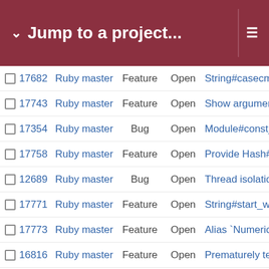Jump to a project...
17682  Ruby master  Feature  Open  String#casecmp p
17743  Ruby master  Feature  Open  Show argument ty
17354  Ruby master  Bug  Open  Module#const_so
17758  Ruby master  Feature  Open  Provide Hash#co
12689  Ruby master  Bug  Open  Thread isolation o
17771  Ruby master  Feature  Open  String#start_with?
17773  Ruby master  Feature  Open  Alias `Numeric#ze
16816  Ruby master  Feature  Open  Prematurely termi
17786  Ruby master  Feature  Open  Proposal: new "en
17797  Ruby master  Feature  Open  MIPS support for a
17749  Ruby master  Feature  Open  Const source loca
11230  Ruby master  Bug  Open  Should rb_struct_s
17808  Ruby master  Feature  Open  Feature Request:
12543  Ruby master  Feature  Assigned  explicit tail call syn
17815  Ruby master  Misc  Open  Snapcraft Ruby pl
17790  Ruby master  Feature  Open  Have a way to cle
17817  Ruby master  Bug  Open  --jit outputs ./tmp/_
17829  Ruby master  Misc  Open  Clang/LLVM corre